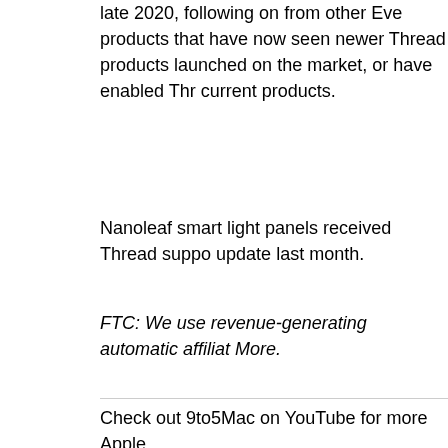late 2020, following on from other Eve products that have now seen newer Thread products launched on the market, or have enabled Thread in current products.
Nanoleaf smart light panels received Thread support via an update last month.
FTC: We use revenue-generating automatic affiliate links. More.
Check out 9to5Mac on YouTube for more Apple